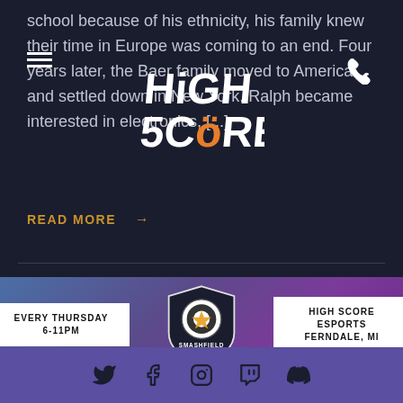school because of his ethnicity, his family knew their time in Europe was coming to an end. Four years later, the Baer family moved to America and settled down in New York. Ralph became interested in electronics, [...]
READ MORE →
[Figure (logo): High Score logo in white graffiti style text]
[Figure (infographic): Smashfield Weeklies banner with shield logo, text 'EVERY THURSDAY 6-11PM' on left and 'HIGH SCORE ESPORTS FERNDALE, MI' on right]
Social media icons: Twitter, Facebook, Instagram, Twitch, Discord